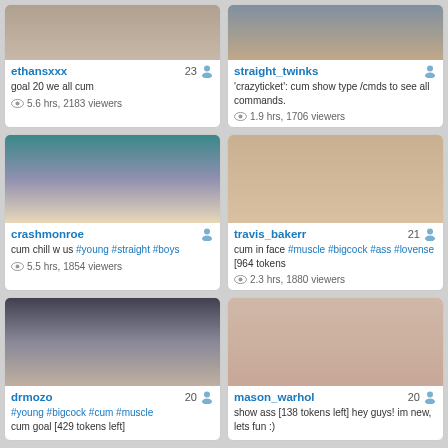[Figure (screenshot): Webcam thumbnail for ethansxxx]
ethansxxx 23
goal 20 we all cum
5.6 hrs, 2183 viewers
[Figure (screenshot): Webcam thumbnail for straight_twinks]
straight_twinks
'crazyticket': cum show type /cmds to see all commands.
1.9 hrs, 1706 viewers
[Figure (screenshot): Webcam thumbnail for crashmonroe]
crashmonroe
cum chill w us #young #straight #boys
5.5 hrs, 1854 viewers
[Figure (screenshot): Webcam thumbnail for travis_bakerr]
travis_bakerr 21
cum in face #muscle #bigcock #ass #lovense [964 tokens
2.3 hrs, 1880 viewers
[Figure (screenshot): Webcam thumbnail for drmozo]
drmozo 20
#young #bigcock #cum #muscle
cum goal [429 tokens left]
[Figure (screenshot): Webcam thumbnail for mason_warhol]
mason_warhol 20
show ass [138 tokens left] hey guys! im new, lets fun :)